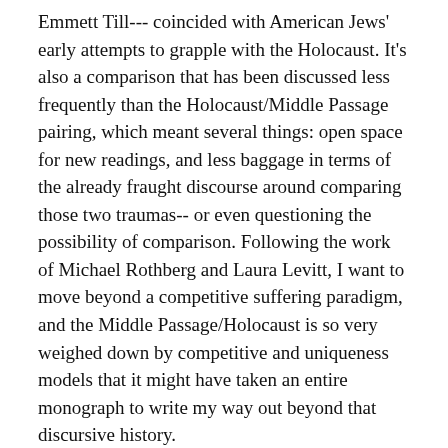Emmett Till--- coincided with American Jews' early attempts to grapple with the Holocaust. It's also a comparison that has been discussed less frequently than the Holocaust/Middle Passage pairing, which meant several things: open space for new readings, and less baggage in terms of the already fraught discourse around comparing those two traumas-- or even questioning the possibility of comparison. Following the work of Michael Rothberg and Laura Levitt, I want to move beyond a competitive suffering paradigm, and the Middle Passage/Holocaust is so very weighed down by competitive and uniqueness models that it might have taken an entire monograph to write my way out beyond that discursive history.
SKM: On what might be a lighter note, let's talk about Maurice Sendak and those monstrous Jewish relatives.
JEL: I can't stop talking about Maurice Sendak's Jewish